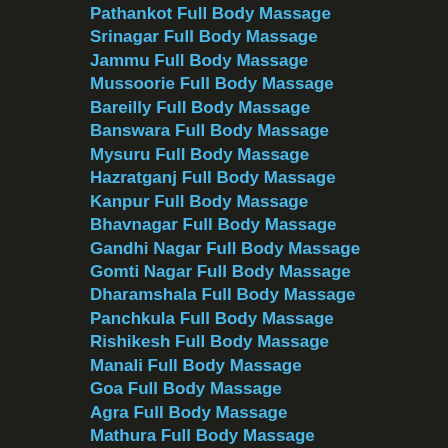Pathankot Full Body Massage
Srinagar Full Body Massage
Jammu Full Body Massage
Mussoorie Full Body Massage
Bareilly Full Body Massage
Banswara Full Body Massage
Mysuru Full Body Massage
Hazratganj Full Body Massage
Kanpur Full Body Massage
Bhavnagar Full Body Massage
Gandhi Nagar Full Body Massage
Gomti Nagar Full Body Massage
Dharamshala Full Body Massage
Panchkula Full Body Massage
Rishikesh Full Body Massage
Manali Full Body Massage
Goa Full Body Massage
Agra Full Body Massage
Mathura Full Body Massage
Pune Full Body Massage
Jalandhar Full Body Massage
Mumbai Full Body Massage